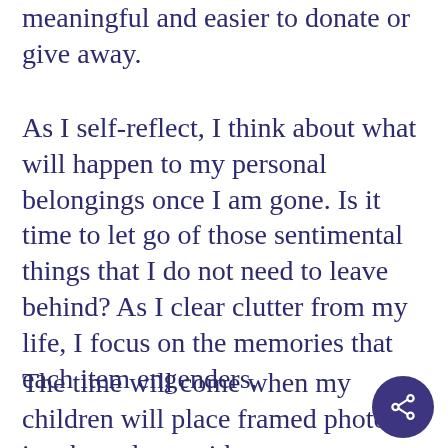meaningful and easier to donate or give away.
As I self-reflect, I think about what will happen to my personal belongings once I am gone. Is it time to let go of those sentimental things that I do not need to leave behind? As I clear clutter from my life, I focus on the memories that each item engenders.
The time will come when my children will place framed photos in a box along with my